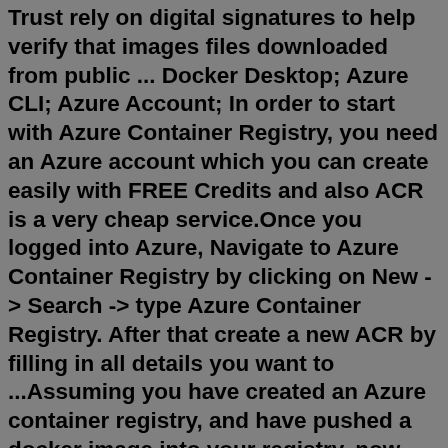Trust rely on digital signatures to help verify that images files downloaded from public ... Docker Desktop; Azure CLI; Azure Account; In order to start with Azure Container Registry, you need an Azure account which you can create easily with FREE Credits and also ACR is a very cheap service.Once you logged into Azure, Navigate to Azure Container Registry by clicking on New -> Search -> type Azure Container Registry. After that create a new ACR by filling in all details you want to ...Assuming you have created an Azure container registry, and have pushed a docker image into your registry, now lets deploy that image into a kubernetes cluster using the Azure Kubernetes Service.. Before we do that, we need to provision an instance of Azure Kubernetes Service, and that instance needs to be able to read the Azure Container Registry, for which I can use either an managed identity ...Deploy your Docker container from Azure Container Registry to a web app - "Web App for Containers" From the Repositories >Tags, click on the options and click on deploy to web app as